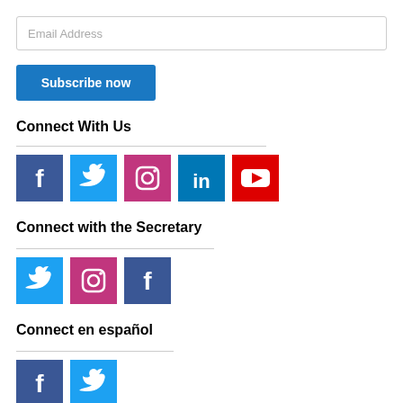Sign up to be notified when we publish a new post.
Email Address
Subscribe now
Connect With Us
[Figure (infographic): Five social media icons: Facebook (dark blue), Twitter (light blue), Instagram (pink/purple), LinkedIn (blue), YouTube (red)]
Connect with the Secretary
[Figure (infographic): Three social media icons: Twitter (light blue), Instagram (pink/purple), Facebook (dark blue)]
Connect en español
[Figure (infographic): Two social media icons: Facebook (dark blue), Twitter (light blue)]